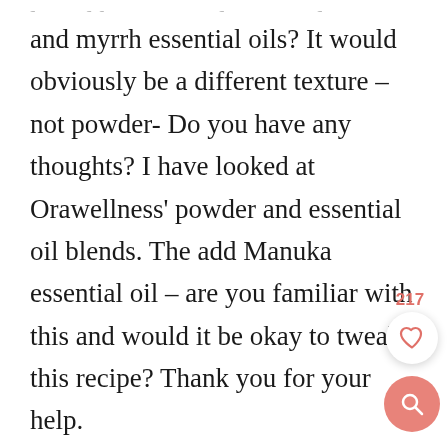liquid bentonite clay, powders and myrrh essential oils? It would obviously be a different texture – not powder- Do you have any thoughts? I have looked at Orawellness' powder and essential oil blends. The add Manuka essential oil – are you familiar with this and would it be okay to tweak this recipe? Thank you for your help.